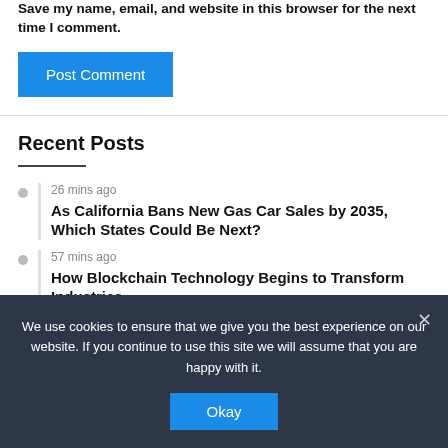Save my name, email, and website in this browser for the next time I comment.
Post Comment
Recent Posts
26 mins ago
As California Bans New Gas Car Sales by 2035, Which States Could Be Next?
57 mins ago
How Blockchain Technology Begins to Transform Industries
We use cookies to ensure that we give you the best experience on our website. If you continue to use this site we will assume that you are happy with it.
Okay